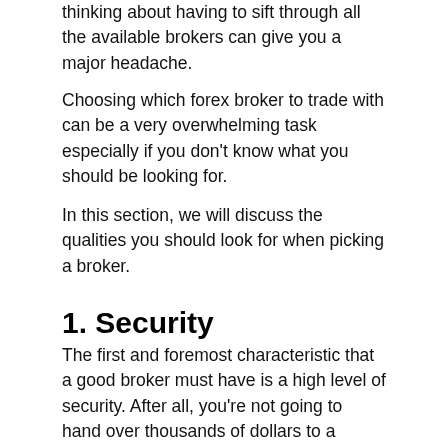thinking about having to sift through all the available brokers can give you a major headache.
Choosing which forex broker to trade with can be a very overwhelming task especially if you don't know what you should be looking for.
In this section, we will discuss the qualities you should look for when picking a broker.
1. Security
The first and foremost characteristic that a good broker must have is a high level of security. After all, you're not going to hand over thousands of dollars to a person who simply claims he's legit, right?
Fortunately, checking the credibility of a forex broker is all you need. The next text starts to give you all...